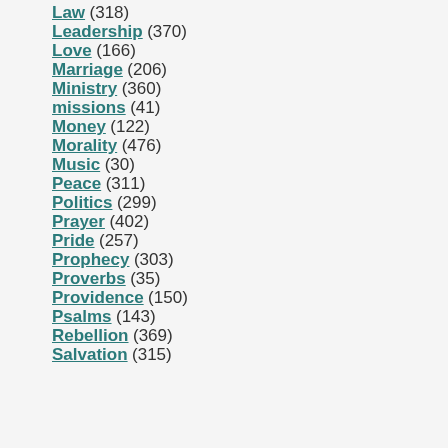Law (318)
Leadership (370)
Love (166)
Marriage (206)
Ministry (360)
missions (41)
Money (122)
Morality (476)
Music (30)
Peace (311)
Politics (299)
Prayer (402)
Pride (257)
Prophecy (303)
Proverbs (35)
Providence (150)
Psalms (143)
Rebellion (369)
Salvation (315)